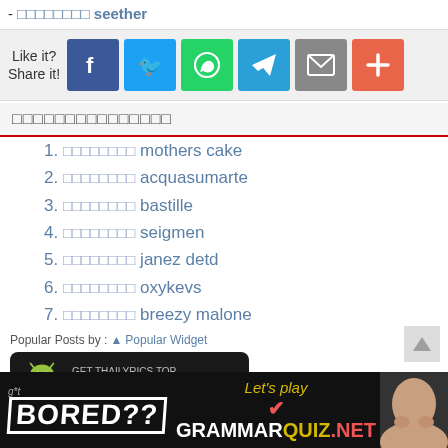- □□□□□□□□ seether
[Figure (infographic): Like it? Share it! social share buttons: Facebook, Twitter, WhatsApp, Telegram, Email, More (+)]
□□□□□□□□□□□□□□□
1. □□□□□□□□ mothers cake
2. □□□□□□□□ acquasumarte
3. □□□□□□□□ bastille
4. □□□□□□□□ seigmen
5. □□□□□□□□ janez detd
6. □□□□□□□□ oxykevs
7. □□□□□□□□ breezy malone
Popular Posts by : ▲ Popular Widget
[Figure (infographic): Android app banner: GET THAILYRICS.TOP Android App with Android robot icon]
[Figure (infographic): Bottom banner: g*t BORED?? Let's play GRAMMARQUIZ.NET with person's face image]